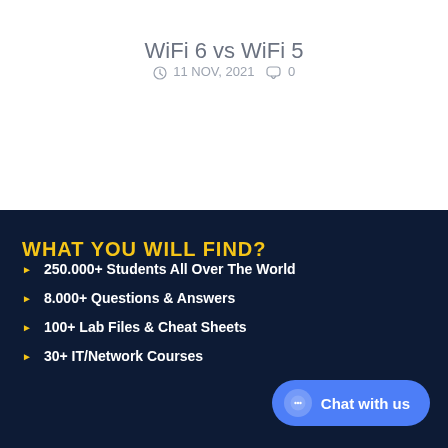WiFi 6 vs WiFi 5
11 NOV, 2021   0
WHAT YOU WILL FIND?
250.000+ Students All Over The World
8.000+ Questions & Answers
100+ Lab Files & Cheat Sheets
30+ IT/Network Courses